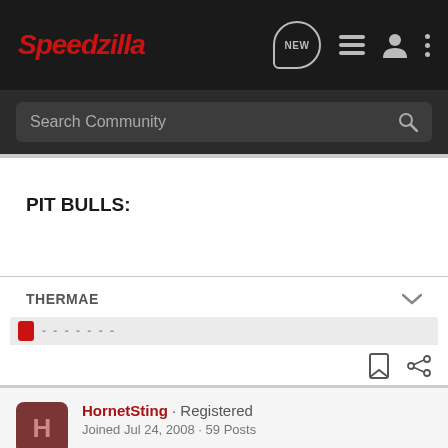Speedzilla
Search Community
PIT BULLS:
THERMAE
HornetSting · Registered
Joined Jul 24, 2008 · 59 Posts